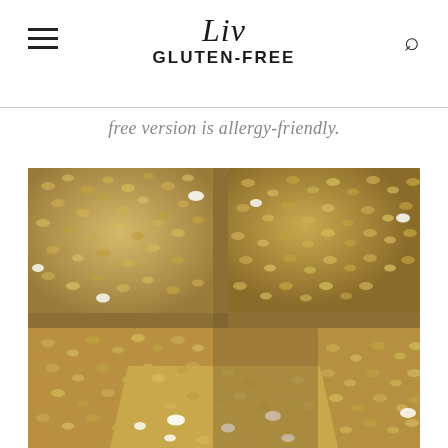Liv GLUTEN-FREE
free version is allergy-friendly.
[Figure (photo): Close-up overhead photo of rice crispy treats cut into squares, showing the puffed rice and marshmallow texture. One treat is being lifted up from the bottom center, showing its underside with visible marshmallow pieces.]